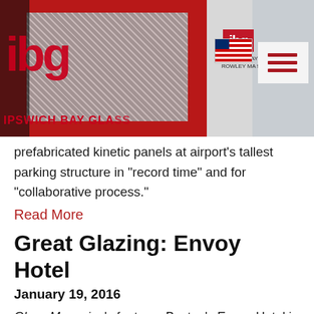[Figure (photo): Header image showing Ipswich Bay Glass (ibg) red and white trucks with logo. A hamburger menu icon with red lines is visible on the right side.]
prefabricated kinetic panels at airport's tallest parking structure in “record time” and for “collaborative process.”
Read More
Great Glazing: Envoy Hotel
January 19, 2016
Glass Magazine’s features Boston’s Envoy Hotel in its Great Glazing column citing Ipswich Bay Glass’ installation of the curtainwall/façade.